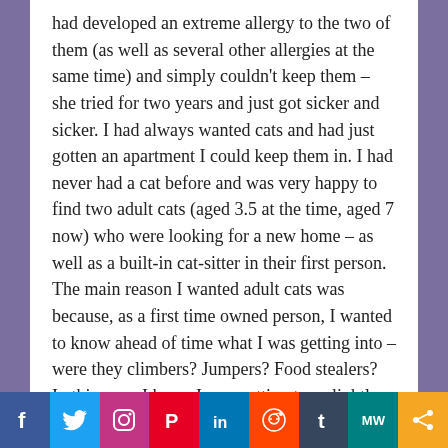had developed an extreme allergy to the two of them (as well as several other allergies at the same time) and simply couldn't keep them – she tried for two years and just got sicker and sicker. I had always wanted cats and had just gotten an apartment I could keep them in. I had never had a cat before and was very happy to find two adult cats (aged 3.5 at the time, aged 7 now) who were looking for a new home – as well as a built-in cat-sitter in their first person. The main reason I wanted adult cats was because, as a first time owned person, I wanted to know ahead of time what I was getting into – were they climbers? Jumpers? Food stealers? In this case, I knew I was getting two slightly shy, chatty lap kitties who would destroy upholstery but not much else. We get along great and they are both sitting with me as I type this.
Social sharing bar: Facebook, Twitter, Instagram, Pinterest, LinkedIn, Reddit, Tumblr, MW, Share